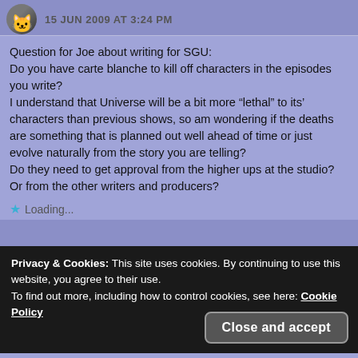15 JUN 2009 AT 3:24 PM
Question for Joe about writing for SGU:
Do you have carte blanche to kill off characters in the episodes you write?
I understand that Universe will be a bit more “lethal” to its’ characters than previous shows, so am wondering if the deaths are something that is planned out well ahead of time or just evolve naturally from the story you are telling?
Do they need to get approval from the higher ups at the studio? Or from the other writers and producers?
Loading...
Privacy & Cookies: This site uses cookies. By continuing to use this website, you agree to their use.
To find out more, including how to control cookies, see here: Cookie Policy
Close and accept
Congrats MORTICAE!!!